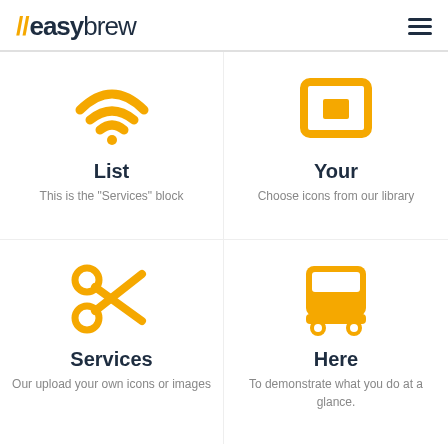//easybrew
[Figure (illustration): WiFi icon in yellow/amber color]
List
This is the 'Services' block
[Figure (illustration): Screen/monitor with inner square icon in yellow/amber color]
Your
Choose icons from our library
[Figure (illustration): Scissors icon in yellow/amber color]
Services
Our upload your own icons or images
[Figure (illustration): Bus icon in yellow/amber color]
Here
To demonstrate what you do at a glance.